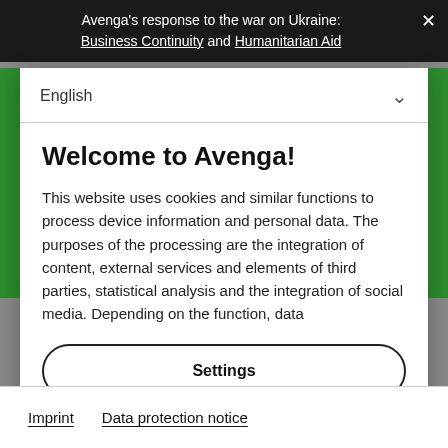Avenga's response to the war on Ukraine: Business Continuity and Humanitarian Aid
English
Welcome to Avenga!
This website uses cookies and similar functions to process device information and personal data. The purposes of the processing are the integration of content, external services and elements of third parties, statistical analysis and the integration of social media. Depending on the function, data
Settings
Accept Everything
Imprint   Data protection notice